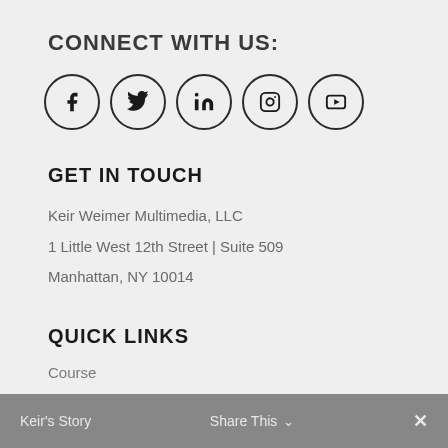CONNECT WITH US:
[Figure (illustration): Row of 5 social media icons in circles: Facebook (f), Twitter (bird), LinkedIn (in), Instagram (camera), YouTube (play button)]
GET IN TOUCH
Keir Weimer Multimedia, LLC
1 Little West 12th Street | Suite 509
Manhattan, NY 10014
QUICK LINKS
Course
Keir's Story    Share This ∨    ×